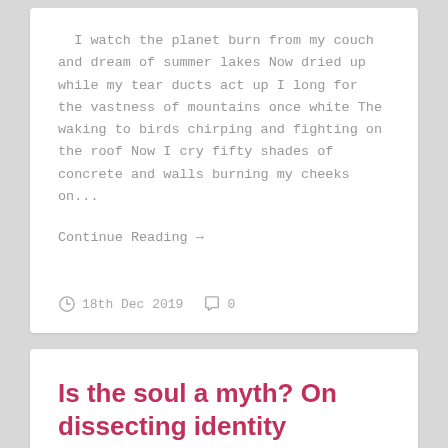I watch the planet burn from my couch and dream of summer lakes Now dried up while my tear ducts act up I long for the vastness of mountains once white The waking to birds chirping and fighting on the roof Now I cry fifty shades of concrete and walls burning my cheeks on...
Continue Reading →
18th Dec 2019   0
Is the soul a myth? On dissecting identity